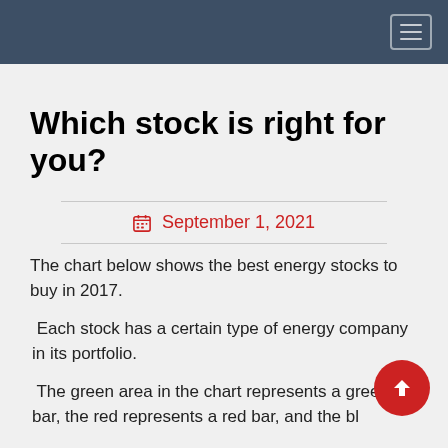Which stock is right for you?
September 1, 2021
The chart below shows the best energy stocks to buy in 2017.
Each stock has a certain type of energy company in its portfolio.
The green area in the chart represents a green bar, the red represents a red bar, and the bl represents a blue bar.
If you have a lot of energy companies in your